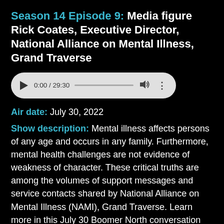Season 14 Episode 9: Media figure Rick Coates, Executive Director, National Alliance on Mental Illness, Grand Traverse
[Figure (other): Audio player widget showing 0:00 / 29:30 with play button, progress bar, volume icon, and options menu on a light gray pill-shaped background]
Air date: July 30, 2022
Show description: Mental illness affects persons of any age and occurs in any family. Furthermore, mental health challenges are not evidence of weakness of character. These critical truths are among the volumes of support messages and service contacts shared by National Alliance on Mental Illness (NAMI), Grand Traverse. Learn more in this July 30 Boomer North conversation with host Wendy Nienhouse, and join this informative, hope-